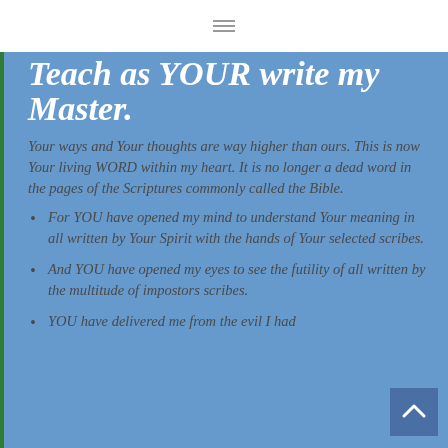Teach as YOUR write my Master.
Your ways and Your thoughts are way higher than ours. This is now Your living WORD within my heart. It is no longer a dead word in the pages of the Scriptures commonly called the Bible.
For YOU have opened my mind to understand Your meaning in all written by Your Spirit with the hands of Your selected scribes.
And YOU have opened my eyes to see the futility of all written by the multitude of impostors scribes.
YOU have delivered me from the evil I had...